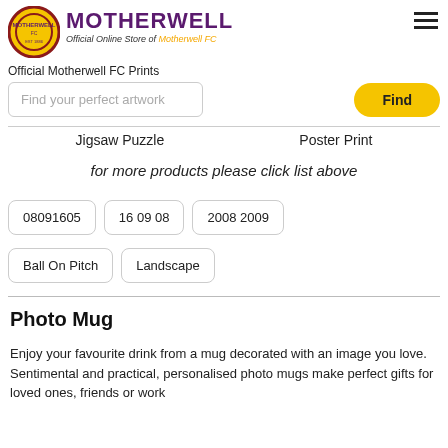[Figure (logo): Motherwell FC circular crest logo in yellow/maroon]
MOTHERWELL
Official Online Store of Motherwell FC
Official Motherwell FC Prints
Find your perfect artwork
Find
Jigsaw Puzzle
Poster Print
for more products please click list above
08091605
16 09 08
2008 2009
Ball On Pitch
Landscape
Photo Mug
Enjoy your favourite drink from a mug decorated with an image you love. Sentimental and practical, personalised photo mugs make perfect gifts for loved ones, friends or work